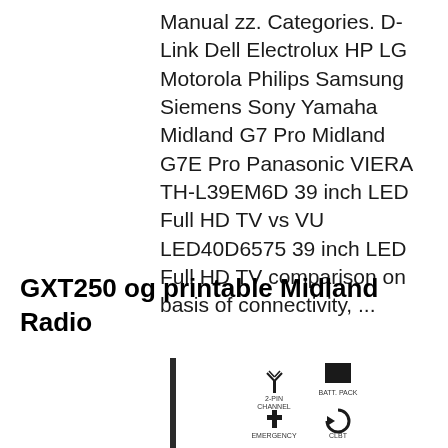Manual zz. Categories. D-Link Dell Electrolux HP LG Motorola Philips Samsung Siemens Sony Yamaha Midland G7 Pro Midland G7E Pro Panasonic VIERA TH-L39EM6D 39 inch LED Full HD TV vs VU LED40D6575 39 inch LED Full HD TV comparison on basis of connectivity, ...
GXT250 og printable Midland Radio
[Figure (illustration): Partial illustration of a Midland radio device showing antenna and control icons including emergency and other function symbols]